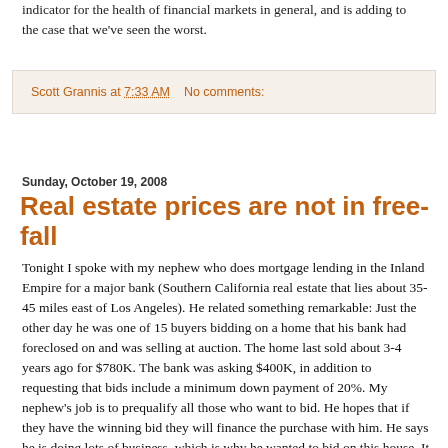indicator for the health of financial markets in general, and is adding to the case that we've seen the worst.
Scott Grannis at 7:33 AM   No comments:
Sunday, October 19, 2008
Real estate prices are not in free-fall
Tonight I spoke with my nephew who does mortgage lending in the Inland Empire for a major bank (Southern California real estate that lies about 35-45 miles east of Los Angeles). He related something remarkable: Just the other day he was one of 15 buyers bidding on a home that his bank had foreclosed on and was selling at auction. The home last sold about 3-4 years ago for $780K. The bank was asking $400K, in addition to requesting that bids include a minimum down payment of 20%. My nephew's job is to prequalify all those who want to bid. He hopes that if they have the winning bid they will finance the purchase with him. He says he is doing lots of business, which is why he wanted to bid on this house. It turns out that the minimum bid was $400K, exactly